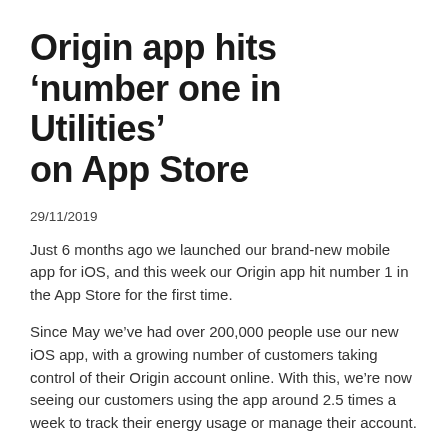Origin app hits 'number one in Utilities' on App Store
29/11/2019
Just 6 months ago we launched our brand-new mobile app for iOS, and this week our Origin app hit number 1 in the App Store for the first time.
Since May we've had over 200,000 people use our new iOS app, with a growing number of customers taking control of their Origin account online. With this, we're now seeing our customers using the app around 2.5 times a week to track their energy usage or manage their account.